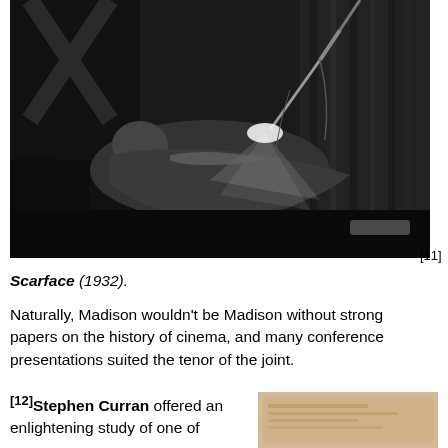[Figure (photo): Black and white film still showing a person reclining on a chair or bed with a bright lamp illuminating the scene, curtains in the background, cinematic lighting suggesting a noir or crime film setting.]
[11]
Scarface (1932).
Naturally, Madison wouldn't be Madison without strong papers on the history of cinema, and many conference presentations suited the tenor of the joint.
[12]Stephen Curran offered an enlightening study of one of
[Figure (photo): Partial view of a sepia-toned or aged document/photograph at the bottom right of the page.]